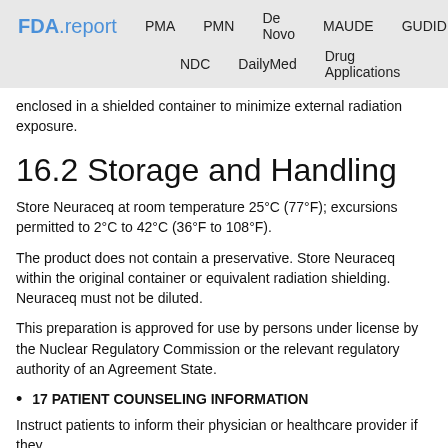FDA.report  PMA  PMN  De Novo  MAUDE  GUDID  NDC  DailyMed  Drug Applications
enclosed in a shielded container to minimize external radiation exposure.
16.2 Storage and Handling
Store Neuraceq at room temperature 25°C (77°F); excursions permitted to 2°C to 42°C (36°F to 108°F).
The product does not contain a preservative. Store Neuraceq within the original container or equivalent radiation shielding. Neuraceq must not be diluted.
This preparation is approved for use by persons under license by the Nuclear Regulatory Commission or the relevant regulatory authority of an Agreement State.
17 PATIENT COUNSELING INFORMATION
Instruct patients to inform their physician or healthcare provider if they